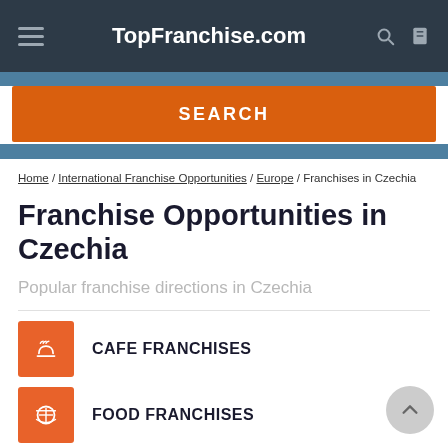TopFranchise.com
SEARCH
Home / International Franchise Opportunities / Europe / Franchises in Czechia
Franchise Opportunities in Czechia
Popular franchise directions in Czechia
CAFE FRANCHISES
FOOD FRANCHISES
CONSULTING FRANCHISES